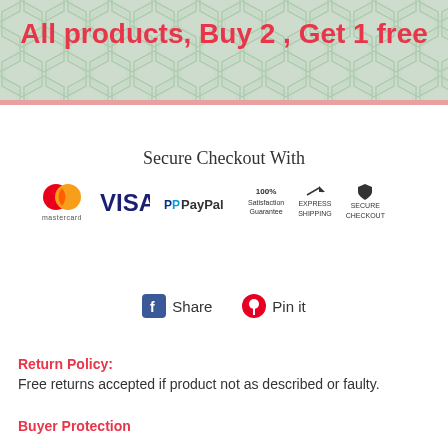All products, Buy 2 , Get 1 free
Secure Checkout With
[Figure (infographic): Payment icons: Mastercard, VISA, PayPal, 100% Satisfaction Guarantee, Express Shipping, Secure Checkout]
[Figure (infographic): Social share icons: Facebook Share and Pinterest Pin it]
Return Policy:
Free returns accepted if product not as described or faulty.
Buyer Protection